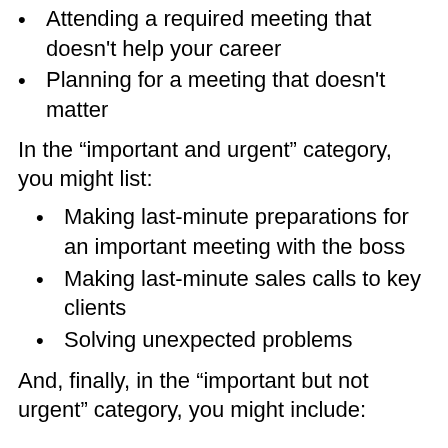Attending a required meeting that doesn't help your career
Planning for a meeting that doesn't matter
In the “important and urgent” category, you might list:
Making last-minute preparations for an important meeting with the boss
Making last-minute sales calls to key clients
Solving unexpected problems
And, finally, in the “important but not urgent” category, you might include: